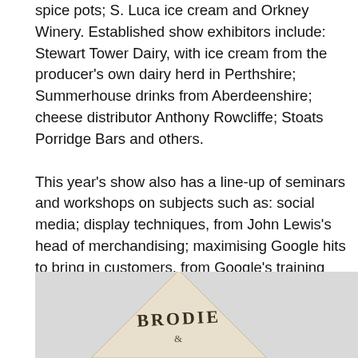spice pots; S. Luca ice cream and Orkney Winery. Established show exhibitors include: Stewart Tower Dairy, with ice cream from the producer's own dairy herd in Perthshire; Summerhouse drinks from Aberdeenshire; cheese distributor Anthony Rowcliffe; Stoats Porridge Bars and others. This year's show also has a line-up of seminars and workshops on subjects such as: social media; display techniques, from John Lewis's head of merchandising; maximising Google hits to bring in customers, from Google's training team; and PR tips for retailers. Awards will be made for the best products in four categories: condiments and preserves; chilled and frozen; drinks; and confectionery, biscuits and snacks.
[Figure (photo): Partial image at bottom of page showing a cream/beige triangular tent card or package with the text 'BRODIE' visible, against a light grey background.]